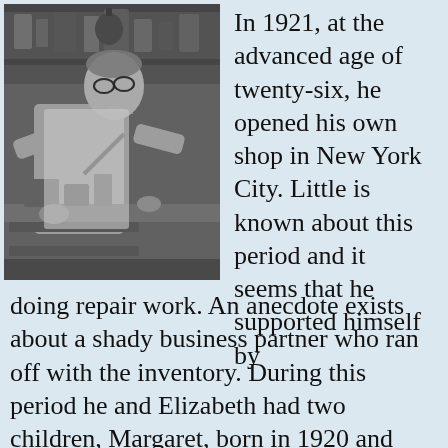[Figure (photo): Black and white photograph of an older man wearing glasses and a light short-sleeve shirt, leaning over a workbench cluttered with tools and materials in what appears to be a workshop or repair shop. Shelves with items are visible in the background.]
In 1921, at the advanced age of twenty-six, he opened his own shop in New York City. Little is known about this period and it seems that he supported himself by doing repair work. An anecdote exists about a shady business partner who ran off with the inventory. During this period he and Elizabeth had two children, Margaret, born in 1920 and William, born in 1923. In 1926 he built a small house at 52 Harcourt Ave